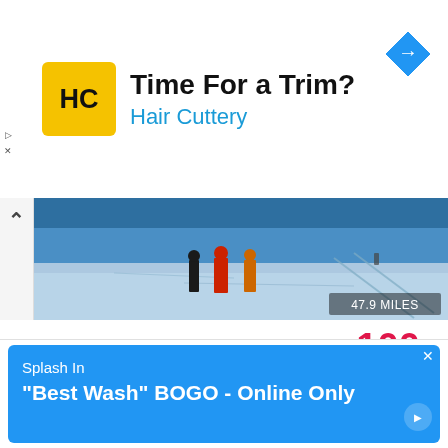[Figure (advertisement): Hair Cuttery ad banner with HC logo, text 'Time For a Trim?' and navigation icon]
[Figure (photo): Ski slope photo with people in snow, showing 47.9 MILES overlay]
5 Maverick Mountain
100% 4 VOTES
SKIING & SNOWBOARDING
ANACONDA, MT   Less Info ^
Maverick Mountain is a mountain with an elevation of 8,520-feet that supports activities such as skiing, snowboarding, snowmobiling, and tubing. The mountain offers seasonal passes, ski rentals, snowboard rentals, and educational lessons.
[Figure (advertisement): Splash In car wash ad with blue background, text 'Splash In' and '"Best Wash" BOGO - Online Only']